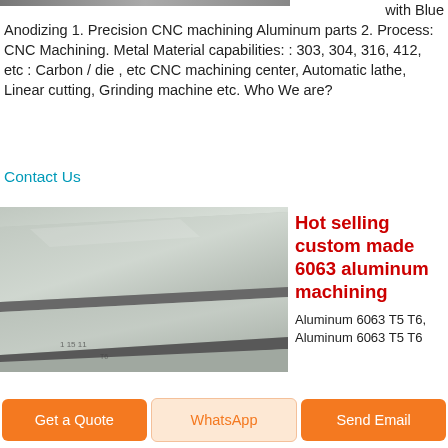with Blue Anodizing 1. Precision CNC machining Aluminum parts 2. Process: CNC Machining. Metal Material capabilities: : 303, 304, 316, 412, etc : Carbon / die , etc CNC machining center, Automatic lathe, Linear cutting, Grinding machine etc. Who We are?
Contact Us
[Figure (photo): Stacked aluminum sheets/plates photographed from an angle showing multiple layers and reflective metallic surfaces]
Hot selling custom made 6063 aluminum machining
Aluminum 6063 T5 T6, Aluminum 6063 T5 T6
Get a Quote
WhatsApp
Send Email